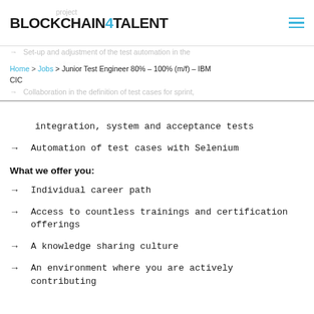BLOCKCHAIN4TALENT
Home > Jobs > Junior Test Engineer 80% – 100% (m/f) – IBM CIC
integration, system and acceptance tests
Automation of test cases with Selenium
What we offer you:
Individual career path
Access to countless trainings and certification offerings
A knowledge sharing culture
An environment where you are actively contributing